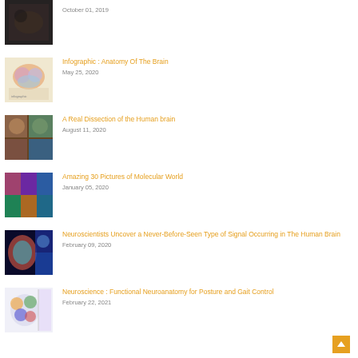[Figure (photo): Thumbnail image - dark colored brain/science related image (partial, top cut off)]
October 01, 2019
[Figure (photo): Colorful anatomy of the brain infographic thumbnail]
Infographic : Anatomy Of The Brain
May 25, 2020
[Figure (photo): Real dissection of human brain - collage of brain images thumbnail]
A Real Dissection of the Human brain
August 11, 2020
[Figure (photo): Colorful molecular world pictures collage thumbnail]
Amazing 30 Pictures of Molecular World
January 05, 2020
[Figure (photo): Brain scan and neuroscience images collage thumbnail]
Neuroscientists Uncover a Never-Before-Seen Type of Signal Occurring in The Human Brain
February 09, 2020
[Figure (photo): Functional neuroanatomy brain diagram thumbnail]
Neuroscience : Functional Neuroanatomy for Posture and Gait Control
February 22, 2021